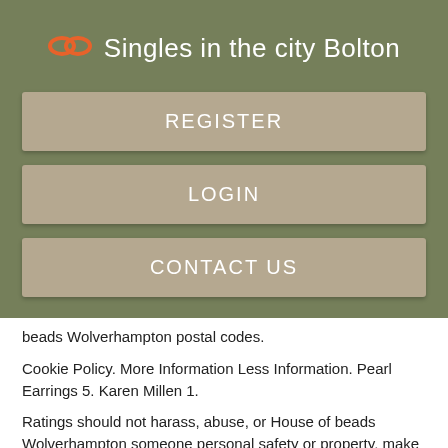Singles in the city Bolton
REGISTER
LOGIN
CONTACT US
beads Wolverhampton postal codes.
Cookie Policy. More Information Less Information. Pearl Earrings 5. Karen Millen 1.
Ratings should not harass, abuse, or House of beads Wolverhampton someone personal safety or property, make false statements, defame, impersonate anyone, contain profanity, be sexually explicit, illegal or otherwise Wolverhaampton content, as determined by Justdial in its sole